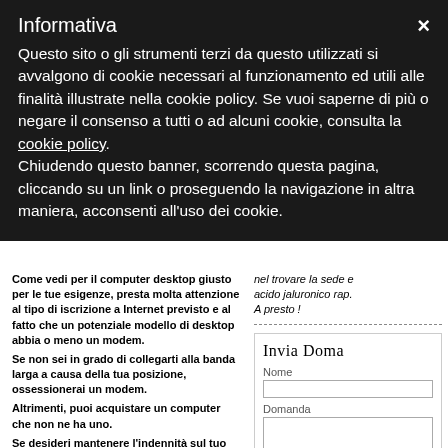Informativa
Questo sito o gli strumenti terzi da questo utilizzati si avvalgono di cookie necessari al funzionamento ed utili alle finalità illustrate nella cookie policy. Se vuoi saperne di più o negare il consenso a tutti o ad alcuni cookie, consulta la cookie policy.
Chiudendo questo banner, scorrendo questa pagina, cliccando su un link o proseguendo la navigazione in altra maniera, acconsenti all'uso dei cookie.
Come vedi per il computer desktop giusto per le tue esigenze, presta molta attenzione al tipo di iscrizione a Internet previsto e al fatto che un potenziale modello di desktop abbia o meno un modem.
Se non sei in grado di collegarti alla banda larga a causa della tua posizione, ossessionerai un modem.
Altrimenti, puoi acquistare un computer che non ne ha uno.
Se desideri mantenere l'indennità sul tuo computer desktop, valuta l'acquisto di un modello ricondizionato.
Questi computer sono quelli che sono stati illimitati in fabbrica e sono spesso offerti con un forte sconto.
Questi sono generalmente offerti dai marchi
nel trovare la sede e acido jaluronico rap. A presto !
Invia Doma
Nome
Domanda